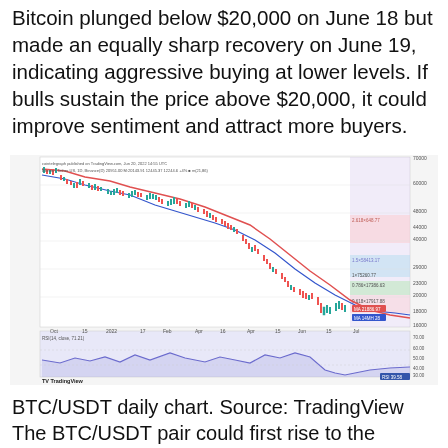Bitcoin plunged below $20,000 on June 18 but made an equally sharp recovery on June 19, indicating aggressive buying at lower levels. If bulls sustain the price above $20,000, it could improve sentiment and attract more buyers.
[Figure (continuous-plot): BTC/USDT daily candlestick chart from TradingView showing price decline from ~$65,000 to ~$20,000 with moving averages (red and blue), Fibonacci retracement levels on the right side (light pink/blue shaded zones), and an RSI oscillator panel below. X-axis spans Oct through Jul. Price touched lows near $17,000-$18,000 area with Fibonacci levels labeled on the right.]
BTC/USDT daily chart. Source: TradingView
The BTC/USDT pair could first rise to the 38.2% Fibonacci retracement level of $23,024 and then to